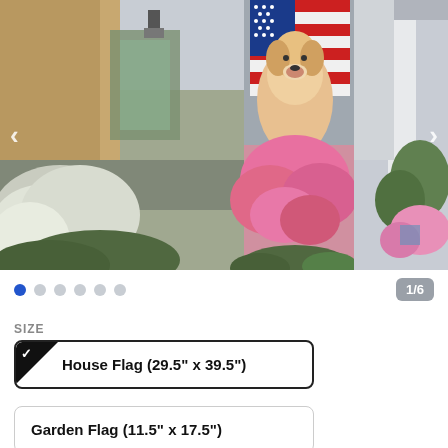[Figure (photo): E-commerce product image carousel showing decorative house flags. Left panel shows a porch with white hydrangea flowers and a house. Center panel shows a dog with an American flag. Right panel shows a porch with pink flowers. Navigation arrows on left and right sides.]
1/6
SIZE
House Flag (29.5" x 39.5")
Garden Flag (11.5" x 17.5")